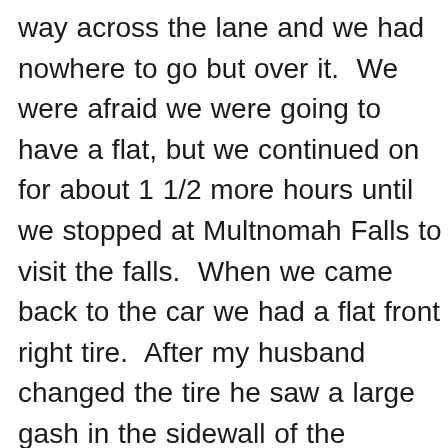way across the lane and we had nowhere to go but over it.  We were afraid we were going to have a flat, but we continued on for about 1 1/2 more hours until we stopped at Multnomah Falls to visit the falls.  When we came back to the car we had a flat front right tire.  After my husband changed the tire he saw a large gash in the sidewall of the tire...not sure how the tire didn't blow or how air stayed in it until we stopped.  No..I do know...I believe God had his finger in that gash and kept us